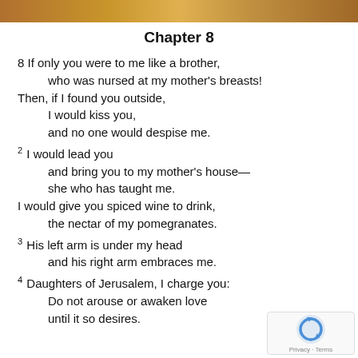[decorative image header]
Chapter 8
8 If only you were to me like a brother, who was nursed at my mother's breasts! Then, if I found you outside, I would kiss you, and no one would despise me. 2 I would lead you and bring you to my mother's house— she who has taught me. I would give you spiced wine to drink, the nectar of my pomegranates. 3 His left arm is under my head and his right arm embraces me. 4 Daughters of Jerusalem, I charge you: Do not arouse or awaken love until it so desires.